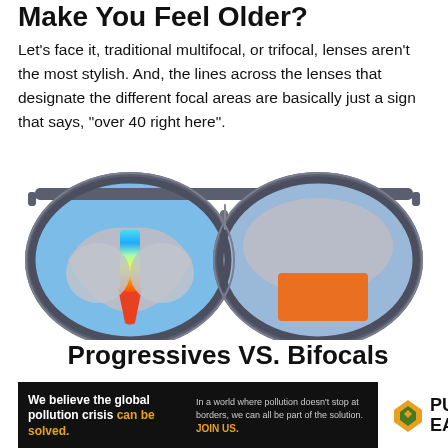Make You Feel Older?
Let's face it, traditional multifocal, or trifocal, lenses aren't the most stylish. And, the lines across the lenses that designate the different focal areas are basically just a sign that says, "over 40 right here".
[Figure (illustration): Illustration of a pair of sunglasses with aviator-style frames. The left lens shows a progressive lens with rainbow gradient and colored zones (blue, gray, orange/red). The right lens shows a bifocal lens with a distinct orange rectangle zone at bottom, gray surround, and blue upper area.]
Progressives VS. Bifocals
[Figure (infographic): Advertisement banner for Pure Earth. Left dark background section: 'We believe the global pollution crisis can be solved.' with 'can be solved.' in orange, and right sub-text 'In a world where pollution doesn't stop at borders, we can all be part of the solution. JOIN US.' Right section shows Pure Earth logo with diamond/arrow icon and text 'PURE EARTH'.]